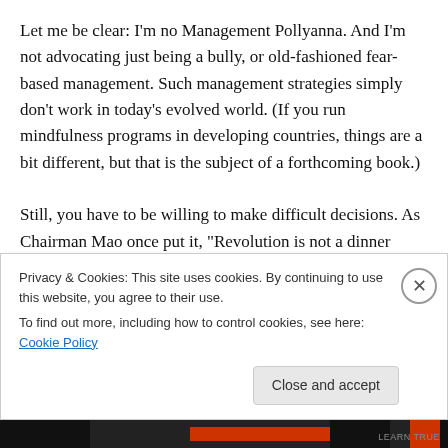Let me be clear: I'm no Management Pollyanna. And I'm not advocating just being a bully, or old-fashioned fear-based management. Such management strategies simply don't work in today's evolved world. (If you run mindfulness programs in developing countries, things are a bit different, but that is the subject of a forthcoming book.)

Still, you have to be willing to make difficult decisions. As Chairman Mao once put it, “Revolution is not a dinner party.” Nor is effective mindful management – it’s a tough,
Privacy & Cookies: This site uses cookies. By continuing to use this website, you agree to their use.
To find out more, including how to control cookies, see here: Cookie Policy
Close and accept